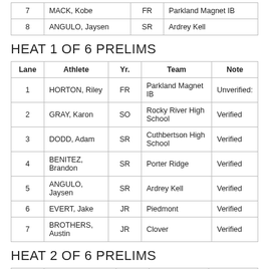| Lane | Athlete | Yr. | Team |
| --- | --- | --- | --- |
| 7 | MACK, Kobe | FR | Parkland Magnet IB |
| 8 | ANGULO, Jaysen | SR | Ardrey Kell |
HEAT 1 OF 6 PRELIMS
| Lane | Athlete | Yr. | Team | Note |
| --- | --- | --- | --- | --- |
| 1 | HORTON, Riley | FR | Parkland Magnet IB | Unverified: |
| 2 | GRAY, Karon | SO | Rocky River High School | Verified |
| 3 | DODD, Adam | SR | Cuthbertson High School | Verified |
| 4 | BENITEZ, Brandon | SR | Porter Ridge | Verified |
| 5 | ANGULO, Jaysen | SR | Ardrey Kell | Verified |
| 6 | EVERT, Jake | JR | Piedmont | Verified |
| 7 | BROTHERS, Austin | JR | Clover | Verified |
HEAT 2 OF 6 PRELIMS
| Lane | Athlete | Yr. | Team | Note |
| --- | --- | --- | --- | --- |
| 1 | DAVIS, Talib | SR | Northwestern | Unverified: |
| 2 | SELCZ, Brennan | SR | Lake Norman | Verified |